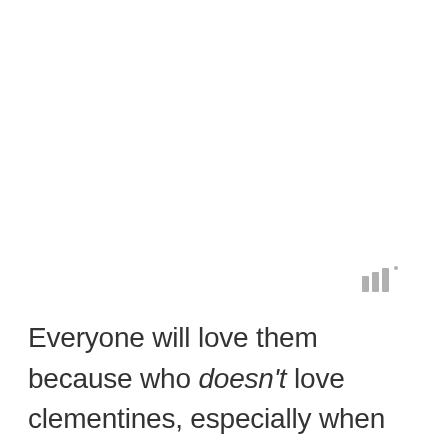[Figure (other): Small signal/wifi bar icon with a superscript dot, rendered in gray]
Everyone will love them because who doesn't love clementines, especially when they're pre-peeled.